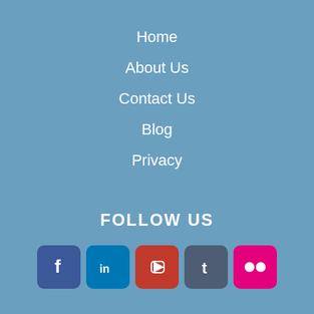Home
About Us
Contact Us
Blog
Privacy
FOLLOW US
[Figure (infographic): Row of 5 social media icons: Facebook (dark blue), LinkedIn (blue), YouTube (red), Tumblr (dark grey-blue), Flickr (pink/magenta)]